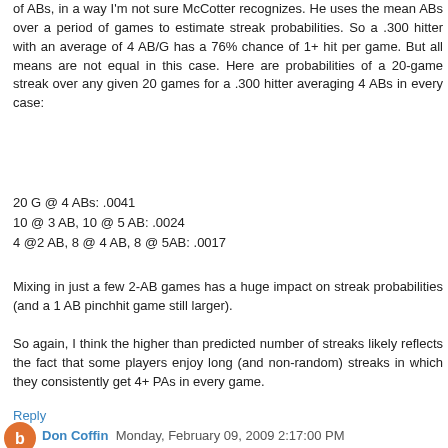of ABs, in a way I'm not sure McCotter recognizes. He uses the mean ABs over a period of games to estimate streak probabilities. So a .300 hitter with an average of 4 AB/G has a 76% chance of 1+ hit per game. But all means are not equal in this case. Here are probabilities of a 20-game streak over any given 20 games for a .300 hitter averaging 4 ABs in every case:
20 G @ 4 ABs: .0041
10 @ 3 AB, 10 @ 5 AB: .0024
4 @2 AB, 8 @ 4 AB, 8 @ 5AB: .0017
Mixing in just a few 2-AB games has a huge impact on streak probabilities (and a 1 AB pinchhit game still larger).
So again, I think the higher than predicted number of streaks likely reflects the fact that some players enjoy long (and non-random) streaks in which they consistently get 4+ PAs in every game.
Reply
Don Coffin  Monday, February 09, 2009 2:17:00 PM